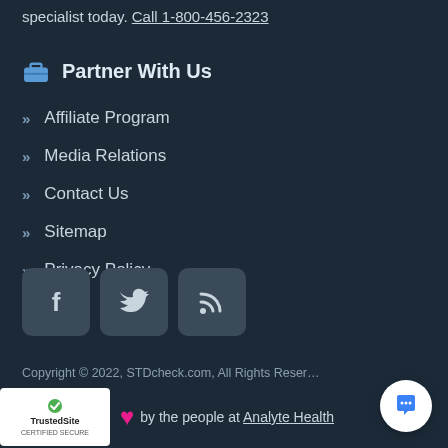specialist today. Call 1-800-456-2323
Partner With Us
Affiliate Program
Media Relations
Contact Us
Sitemap
Privacy Policy
[Figure (infographic): Social media icons: Facebook, Twitter, RSS feed in rounded square buttons]
Copyright © 2022, STDcheck.com, All Rights Reserved
TrustedSite CERTIFIED SECURE ♥ by the people at Analyte Health